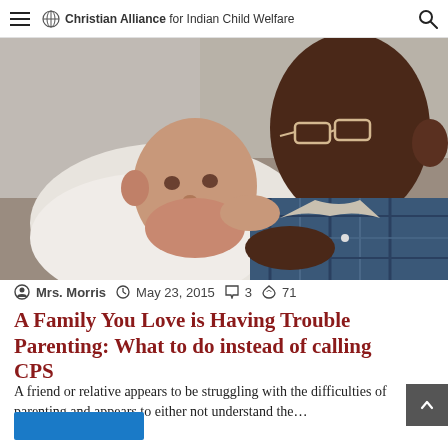Christian Alliance for Indian Child Welfare
[Figure (photo): Black and white / vintage-style photo of a newborn baby being held by an adult wearing a plaid shirt and glasses. The baby is wrapped in white cloth and the adult is leaning over looking at the baby.]
Mrs. Morris  May 23, 2015  3  71
A Family You Love is Having Trouble Parenting: What to do instead of calling CPS
A friend or relative appears to be struggling with the difficulties of parenting and appears to either not understand the…